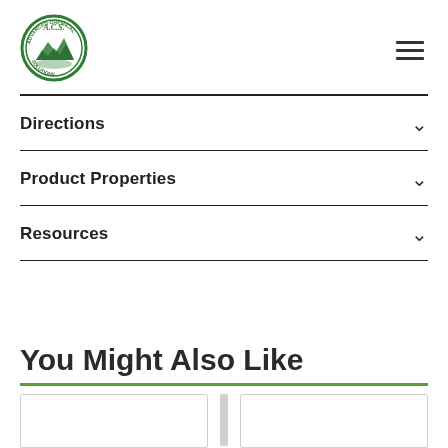A.C.S. logo and navigation menu
Directions
Product Properties
Resources
You Might Also Like